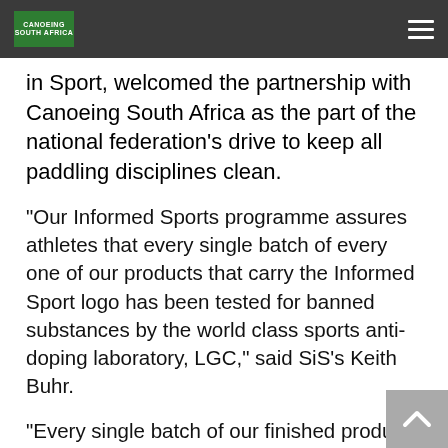CANOEING [logo]
in Sport, welcomed the partnership with Canoeing South Africa as the part of the national federation's drive to keep all paddling disciplines clean.
“Our Informed Sports programme assures athletes that every single batch of every one of our products that carry the Informed Sport logo has been tested for banned substances by the world class sports anti-doping laboratory, LGC,” said SiS’s Keith Buhr.
“Every single batch of our finished product which leaves the company’s factory in Lancashire in the UK is screened against the 2020 World Anti-Doping Agency (WADA) list. Banned substances including steroids are tested to the level of 10 nanograms per gram, and stimulants to 100 nanograms per gram,” he explained.
“In addition, we carry out pre-production testing of ingredients, maintain full trace management of all raw